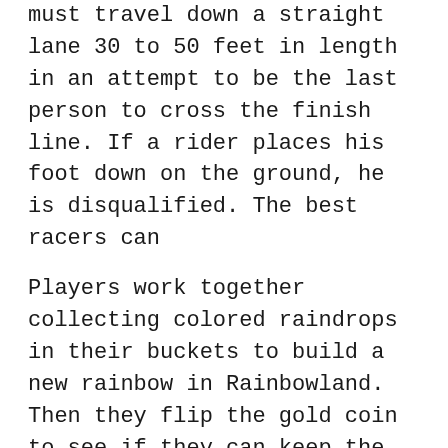must travel down a straight lane 30 to 50 feet in length in an attempt to be the last person to cross the finish line. If a rider places his foot down on the ground, he is disqualified. The best racers can
Players work together collecting colored raindrops in their buckets to build a new rainbow in Rainbowland. Then they flip the gold coin to see if they can keep the gold at the end of their rainbow. 15/11/2009В В· Ride the rainbow to the other side....
21/07/2016В В· 50+ videos Play all Mix - The Doors - Riders On the Storm Piano Tutorial YouTube How To Play "Riders on The Storm" by The Doors HDpiano (Part 1) Piano Tutorial - вБ¦